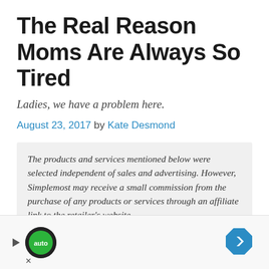The Real Reason Moms Are Always So Tired
Ladies, we have a problem here.
August 23, 2017 by Kate Desmond
The products and services mentioned below were selected independent of sales and advertising. However, Simplemost may receive a small commission from the purchase of any products or services through an affiliate link to the retailer's website.
My husband has approximately three things
[Figure (other): Advertisement banner at the bottom of the page with a play button, circular logo, and a blue diamond-shaped arrow icon]